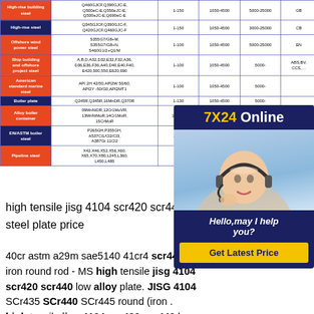| Category | Grades | Thickness (mm) | Width (mm) | Length (mm) | Standard |
| --- | --- | --- | --- | --- | --- |
| High-rise building steel | Q460GJCF,Q390GJC-E,Q500eC-E,Q550eJC-E,Q500eJC-E,Q690eC-E | 1-150 | 1050-4500 | 5000-25000 | GB |
| High-rise steel | Q345GJCF,Q390GJC-F,Q420GJCF,Q460GJC-F | 1-150 | 1050-4500 | 3000-25000 | CB |
| Offshore wind power steel | S355G7/G8+M,S355G7/G8+N,S460G1/2+Q1/M | 1-100 | 1050-4500 | 5000-25000 | EN |
| Ship building and offshore project steel | A,B,D,A32,D32,E32,F32,A36,D36,E36,F36,A40,D40,E40,F40,E420,500,550,E620,690 | 1-100 | 1050-4500 | 5000- | ABS,BV,... |
| American standard marine steel | API 2H 42/50,API2W 50/60,API2Y -50/G0,API2MT1 | 1-100 | 1050-4500 | 5000- |  |
| Boiler plate | Q245R,Q345R,16MnDR,Q370R | 1-130 | 1050-4500 | 5000- |  |
| Alloy boiler container | 09MnNiDR,12Cr1MoVR,13MnNiMoR,14Cr1MoR,15CrMoR | 1-1360 | 1050-4500 | 5000- |  |
| EN/ASTM boiler steel | P265GH,P355GH,A537Cl1/Cl2/Cl3,A387Gr.11Cl2 | 1-130 | 1050-4500 | 5000- |  |
| Pipeline steel | X42,X46,X52,X56,X60,X65,X70,X80,L245,L360,L450,L485 | 1-50 | 1050-4500 | 5000- |  |
[Figure (photo): Customer service representative with headset, '7X24 Online' chat widget with 'Hello, may I help you?' message and 'Get Latest Price' button]
high tensile jisg 4104 scr420 scr440 low alloy plate scr435 steel plate price
40cr astm a29m sae5140 41cr4 scr440 iron round rod - MS high tensile jisg 4104 scr420 scr440 low alloy plate. JISG 4104 SCr435 SCr440 SCr445 round (iron . high tensile jisg 4104 scr420 scr440 low alloy plate Low price high quality 4140